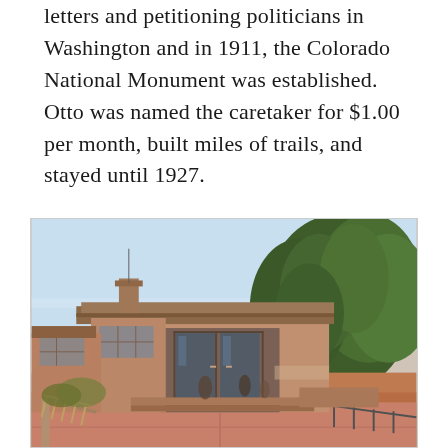letters and petitioning politicians in Washington and in 1911, the Colorado National Monument was established. Otto was named the caretaker for $1.00 per month, built miles of trails, and stayed until 1927.
[Figure (photo): Exterior photograph of a low-profile mid-century modern building (visitor center) with a flat overhanging roof, large glass entrance doors, and a covered walkway with handrails. Dense green trees (juniper/pinyon) are visible on the right side. The foreground shows a reddish-brown concrete plaza. A few people are visible near the entrance. Clear sky in the background.]